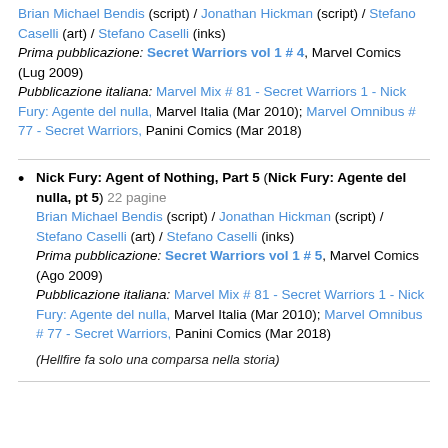Brian Michael Bendis (script) / Jonathan Hickman (script) / Stefano Caselli (art) / Stefano Caselli (inks)
Prima pubblicazione: Secret Warriors vol 1 # 4, Marvel Comics (Lug 2009)
Pubblicazione italiana: Marvel Mix # 81 - Secret Warriors 1 - Nick Fury: Agente del nulla, Marvel Italia (Mar 2010); Marvel Omnibus # 77 - Secret Warriors, Panini Comics (Mar 2018)
Nick Fury: Agent of Nothing, Part 5 (Nick Fury: Agente del nulla, pt 5) 22 pagine
Brian Michael Bendis (script) / Jonathan Hickman (script) / Stefano Caselli (art) / Stefano Caselli (inks)
Prima pubblicazione: Secret Warriors vol 1 # 5, Marvel Comics (Ago 2009)
Pubblicazione italiana: Marvel Mix # 81 - Secret Warriors 1 - Nick Fury: Agente del nulla, Marvel Italia (Mar 2010); Marvel Omnibus # 77 - Secret Warriors, Panini Comics (Mar 2018)
(Hellfire fa solo una comparsa nella storia)